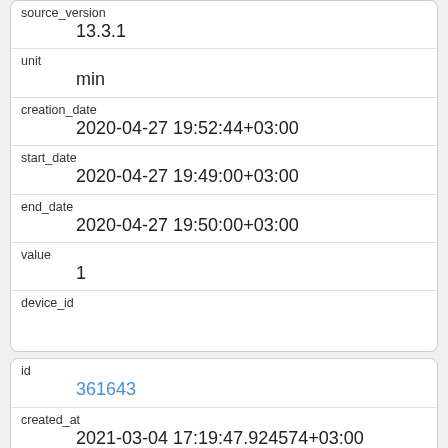| iPhone (Vsevolod) |
| source_version | 13.3.1 |
| unit | min |
| creation_date | 2020-04-27 19:52:44+03:00 |
| start_date | 2020-04-27 19:49:00+03:00 |
| end_date | 2020-04-27 19:50:00+03:00 |
| value | 1 |
| device_id |  |
| id | 361643 |
| created_at | 2021-03-04 17:19:47.924574+03:00 |
| updated_at |  |